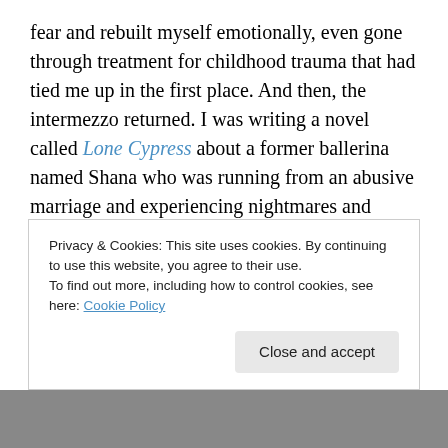fear and rebuilt myself emotionally, even gone through treatment for childhood trauma that had tied me up in the first place. And then, the intermezzo returned. I was writing a novel called Lone Cypress about a former ballerina named Shana who was running from an abusive marriage and experiencing nightmares and blackouts while trying to figure out if she was possessed. Guess what I found in my research of relevant ballets for her to have performed? The Brahms. The second intermezzo, not the first, but that first lullaby began to weave itself through my story, through my character's mind. She had been abandoned by her
Privacy & Cookies: This site uses cookies. By continuing to use this website, you agree to their use.
To find out more, including how to control cookies, see here: Cookie Policy
Close and accept
[Figure (photo): Partial image visible at the bottom of the page, mostly obscured]